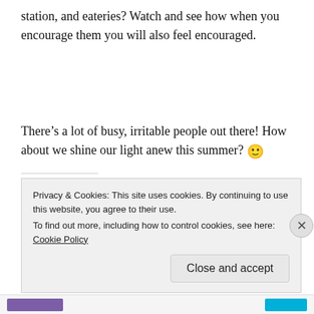station, and eateries? Watch and see how when you encourage them you will also feel encouraged.
There’s a lot of busy, irritable people out there! How about we shine our light anew this summer? 🙂
Share this:
Privacy & Cookies: This site uses cookies. By continuing to use this website, you agree to their use.
To find out more, including how to control cookies, see here: Cookie Policy
Close and accept